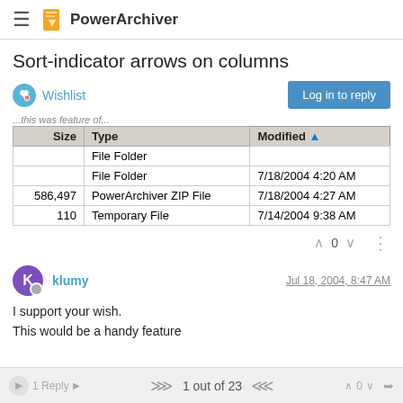PowerArchiver
Sort-indicator arrows on columns
Wishlist
[Figure (screenshot): Windows Explorer-style file listing table showing columns: Size, Type, Modified with an upward arrow sort indicator on Modified. Rows: File Folder (no size/date), File Folder (7/18/2004 4:20 AM), 586,497 PowerArchiver ZIP File (7/18/2004 4:27 AM), 110 Temporary File (7/14/2004 9:38 AM).]
^ 0 v
klumy
Jul 18, 2004, 8:47 AM
I support your wish.
This would be a handy feature
1 Reply  ^^ 1 out of 23 vv ^ 0 v